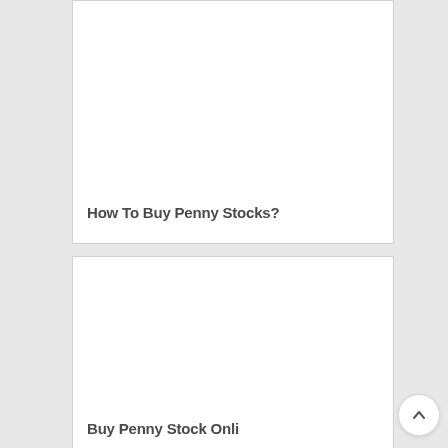[Figure (photo): White card with image area (blank/white) above text, top card in a list]
How To Buy Penny Stocks?
[Figure (photo): White card with image area (blank/white) above partially visible text, bottom card in a list]
Buy Penny Stock Onli...